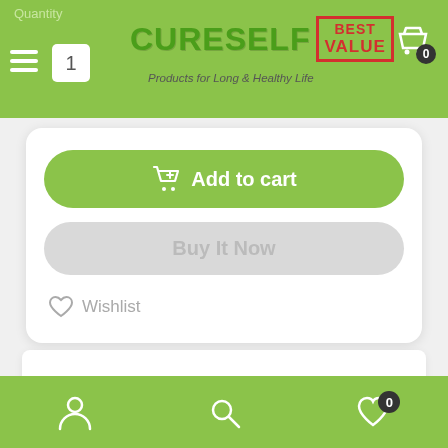CURESELF — Products for Long & Healthy Life
Quantity 1
Add to cart
Buy It Now
Wishlist
Shipping & Returns   Reviews
bottom navigation bar with user, search, and wishlist icons